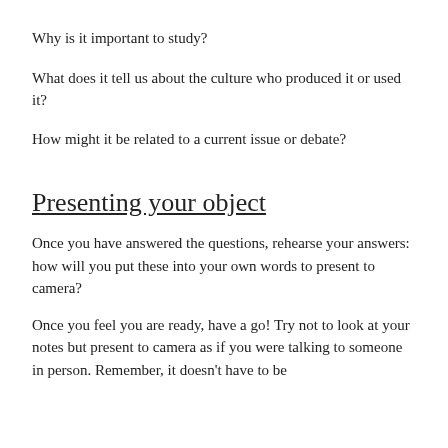Why is it important to study?
What does it tell us about the culture who produced it or used it?
How might it be related to a current issue or debate?
Presenting your object
Once you have answered the questions, rehearse your answers: how will you put these into your own words to present to camera?
Once you feel you are ready, have a go! Try not to look at your notes but present to camera as if you were talking to someone in person. Remember, it doesn’t have to be